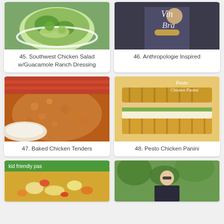[Figure (photo): Southwest Chicken Salad with Guacamole Ranch Dressing food photo]
45. Southwest Chicken Salad w/Guacamole Ranch Dressing
[Figure (photo): Anthropologie Inspired fashion/lifestyle photo]
46. Anthropologie Inspired
[Figure (photo): Baked Chicken Tenders food photo]
47. Baked Chicken Tenders
[Figure (photo): Pesto Chicken Panini food photo]
48. Pesto Chicken Panini
[Figure (photo): Kid friendly pasta food photo]
[Figure (photo): Woman outdoors photo]